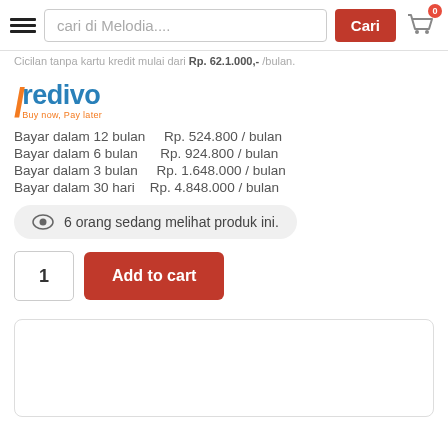cari di Melodia... | Cari | Cart 0
Cicilan tanpa kartu kredit mulai dari Rp. 62.1.000,- /bulan.
[Figure (logo): Kredivo Buy now, Pay later logo with orange K and blue text]
Bayar dalam 12 bulan    Rp. 524.800 / bulan
Bayar dalam 6 bulan     Rp. 924.800 / bulan
Bayar dalam 3 bulan    Rp. 1.648.000 / bulan
Bayar dalam 30 hari   Rp. 4.848.000 / bulan
6 orang sedang melihat produk ini.
1  Add to cart